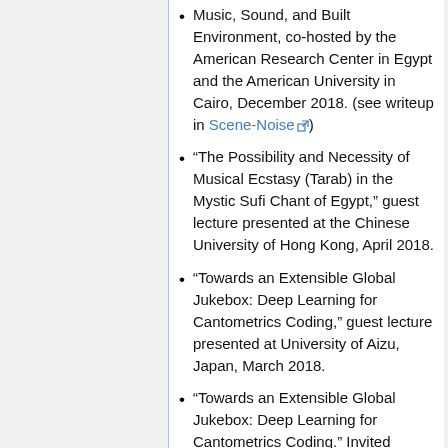Music, Sound, and Built Environment, co-hosted by the American Research Center in Egypt and the American University in Cairo, December 2018. (see writeup in Scene-Noise)
“The Possibility and Necessity of Musical Ecstasy (Tarab) in the Mystic Sufi Chant of Egypt,” guest lecture presented at the Chinese University of Hong Kong, April 2018.
“Towards an Extensible Global Jukebox: Deep Learning for Cantometrics Coding,” guest lecture presented at University of Aizu, Japan, March 2018.
“Towards an Extensible Global Jukebox: Deep Learning for Cantometrics Coding.” Invited contribution to a roundtable, The